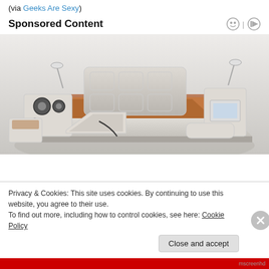(via Geeks Are Sexy)
Sponsored Content
[Figure (photo): A high-tech luxury bed with integrated speakers, massage chair, storage compartments, reading lamps, and a laptop stand, displayed in a 3D product render.]
Privacy & Cookies: This site uses cookies. By continuing to use this website, you agree to their use. To find out more, including how to control cookies, see here: Cookie Policy